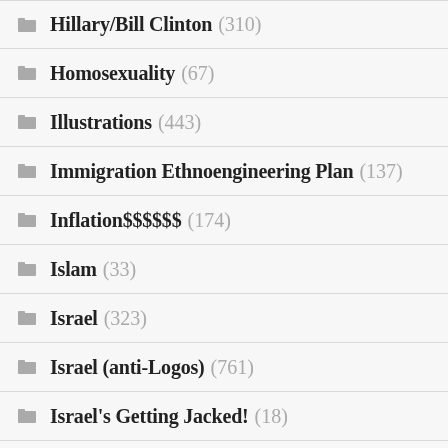Hillary/Bill Clinton (310)
Homosexuality (67)
Illustrations (443)
Immigration Ethnoengineering Plan (137)
Inflation$$$$$$ (174)
Islam (33)
Israel (323)
Israel (anti-Logos) (761)
Israel's Getting Jacked! (18)